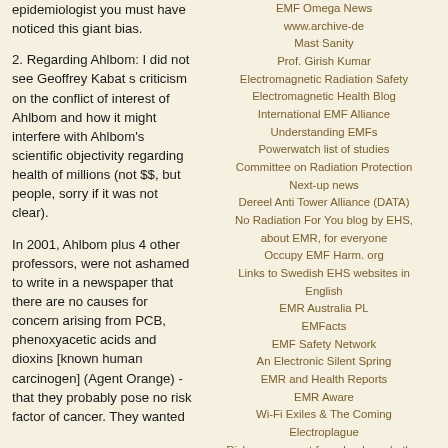epidemiologist you must have noticed this giant bias.
2. Regarding Ahlbom: I did not see Geoffrey Kabat s criticism on the conflict of interest of Ahlbom and how it might interfere with Ahlbom's scientific objectivity regarding health of millions (not $$, but people, sorry if it was not clear).
In 2001, Ahlbom plus 4 other professors, were not ashamed to write in a newspaper that there are no causes for concern arising from PCB, phenoxyacetic acids and dioxins [known human carcinogen] (Agent Orange) - that they probably pose no risk factor of cancer. They wanted
EMF Omega News
www.archive-de
Mast Sanity
Prof. Girish Kumar
Electromagnetic Radiation Safety
Electromagnetic Health Blog
International EMF Alliance
Understanding EMFs
Powerwatch list of studies
Committee on Radiation Protection
Next-up news
Dereel Anti Tower Alliance (DATA)
No Radiation For You blog by EHS, about EMR, for everyone
Occupy EMF Harm. org
Links to Swedish EHS websites in English
EMR Australia PL
EMFacts
EMF Safety Network
An Electronic Silent Spring
EMR and Health Reports
EMR Aware
Wi-Fi Exiles & The Coming Electroplague
Risk assessment for schools and other workplaces
ARCHIV
August 2022
Juli 2022
Juni 2022
Mai 2022
April 2022
März 2022
Februar 2022